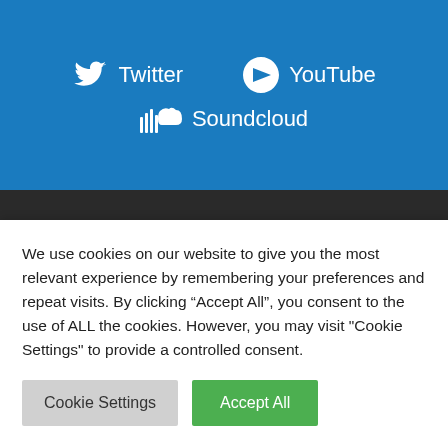[Figure (infographic): Social media links section with blue background showing Twitter, YouTube, and Soundcloud icons with labels in white text]
Listener Reviews
[Figure (infographic): Two review cards side by side showing star ratings — left card shows 2 stars, right card shows 3 stars, on light grey background]
We use cookies on our website to give you the most relevant experience by remembering your preferences and repeat visits. By clicking “Accept All”, you consent to the use of ALL the cookies. However, you may visit "Cookie Settings" to provide a controlled consent.
Cookie Settings
Accept All